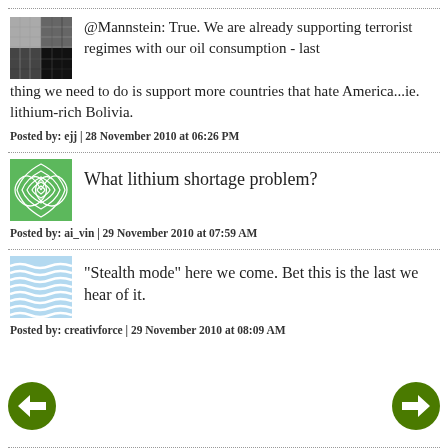[Figure (other): Dotted horizontal divider line]
@Mannstein: True. We are already supporting terrorist regimes with our oil consumption - last thing we need to do is support more countries that hate America...ie. lithium-rich Bolivia.
Posted by: ejj | 28 November 2010 at 06:26 PM
[Figure (other): Dotted horizontal divider line]
What lithium shortage problem?
Posted by: ai_vin | 29 November 2010 at 07:59 AM
[Figure (other): Dotted horizontal divider line]
"Stealth mode" here we come. Bet this is the last we hear of it.
Posted by: creativforce | 29 November 2010 at 08:09 AM
[Figure (other): Dotted horizontal divider line]